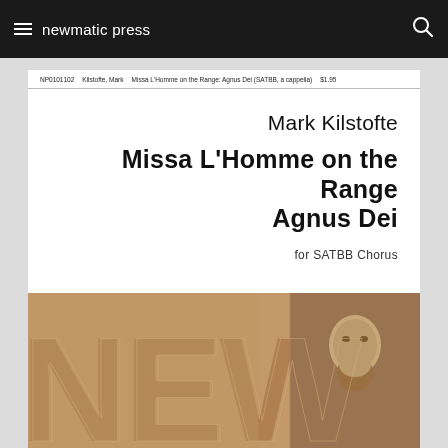newmatic press
| NP0101102 | Kilstofte, Mark | Missa L'Homme on the Range: Agnus Dei (SATBB, a cappella) | $1.95 |
| --- | --- | --- | --- |
Mark Kilstofte
Missa L'Homme on the Range Agnus Dei
for SATBB Chorus
[Figure (photo): Large decorative 'NEW' text in brown/tan over a sepia-toned background with a portrait photograph of a bearded man on the right side]